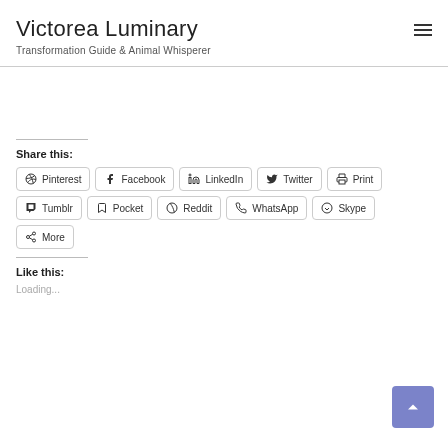Victorea Luminary
Transformation Guide & Animal Whisperer
Share this:
Pinterest
Facebook
LinkedIn
Twitter
Print
Tumblr
Pocket
Reddit
WhatsApp
Skype
More
Like this:
Loading...